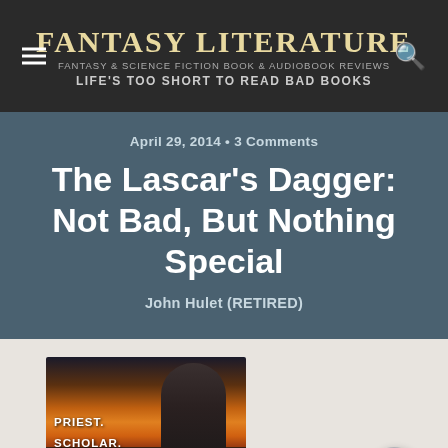Fantasy Literature — Fantasy & Science Fiction Book & Audiobook Reviews — Life's too short to Read Bad Books
April 29, 2014 • 3 Comments
The Lascar's Dagger: Not Bad, But Nothing Special
John Hulet (RETIRED)
[Figure (photo): Book cover showing a robed figure against a fiery sky with text: PRIEST. SCHOLAR. SPY.]